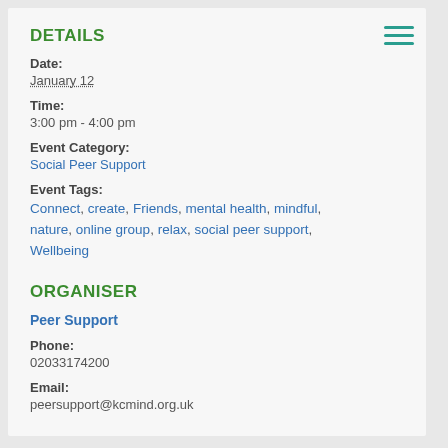DETAILS
Date:
January 12
Time:
3:00 pm - 4:00 pm
Event Category:
Social Peer Support
Event Tags:
Connect, create, Friends, mental health, mindful, nature, online group, relax, social peer support, Wellbeing
ORGANISER
Peer Support
Phone:
02033174200
Email:
peersupport@kcmind.org.uk